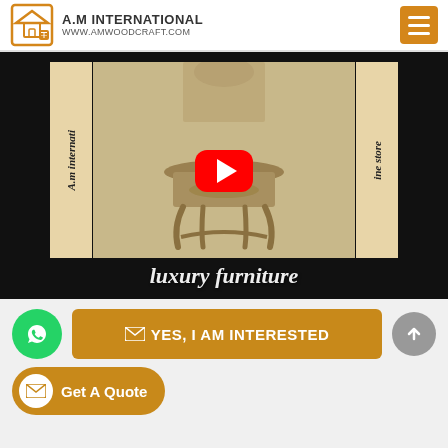A.M INTERNATIONAL www.amwoodcraft.com
[Figure (screenshot): YouTube video thumbnail showing an ornate carved wooden console table with gold finish, flanked by vertical text banners reading 'A.m internati' and 'ine store', with red YouTube play button overlay and 'luxury furniture' text at bottom]
YES, I AM INTERESTED
Get A Quote